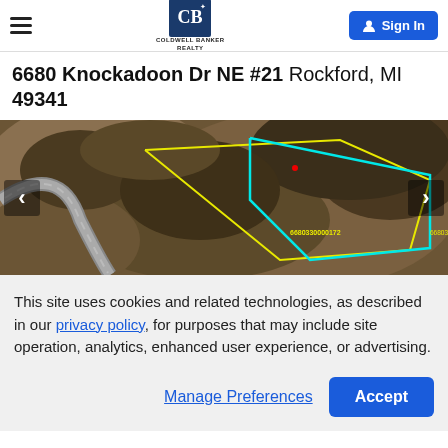Coldwell Banker Realty — Sign In
6680 Knockadoon Dr NE #21 Rockford, MI 49341
[Figure (photo): Aerial/satellite view of a vacant land parcel with property boundary lines overlaid in yellow and cyan, showing a curved road and wooded lot.]
This site uses cookies and related technologies, as described in our privacy policy, for purposes that may include site operation, analytics, enhanced user experience, or advertising.
Manage Preferences   Accept